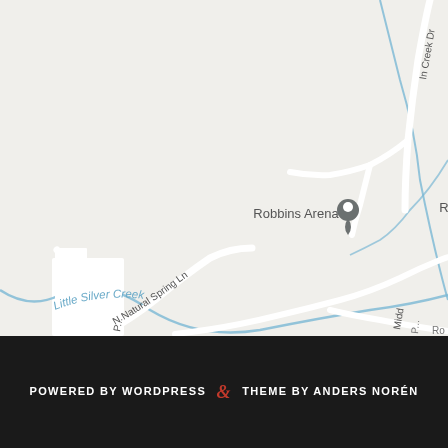[Figure (map): Google Maps screenshot showing an area with Little Silver Creek (blue waterway), N Natural Spring Ln (curved road), Robbins Arena (location marker), and partial street labels including 'In Creek Dr', 'Midd', and 'Ro'. Roads are shown as white paths on a light grey background.]
POWERED BY WORDPRESS & THEME BY ANDERS NORÉN